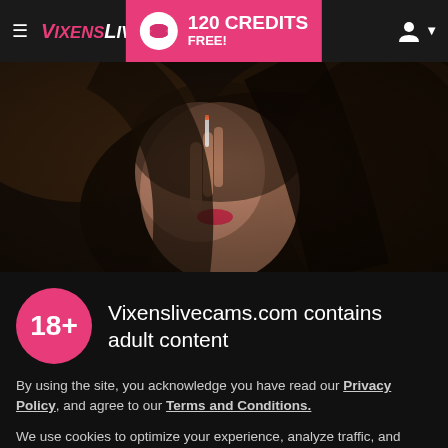VixensLiveCams — 120 CREDITS FREE!
[Figure (photo): Dark moody photo of a woman with dark hair, close-up portrait]
Vixenslivecams.com contains adult content
By using the site, you acknowledge you have read our Privacy Policy, and agree to our Terms and Conditions.
We use cookies to optimize your experience, analyze traffic, and deliver more personalized service. To learn more, please see our Privacy Policy.
I AGREE